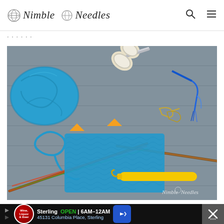Nimble Needles
...
[Figure (photo): Knitting supplies on a wooden surface: blue yarn ball, scissors with decorative handle, stitch markers, safety pins, colorful knitting needles, a blue knitted swatch, and a yellow crochet hook. Watermark reads 'Nimble Needles'.]
Sterling  OPEN | 6AM–12AM  45131 Columbia Place, Sterling